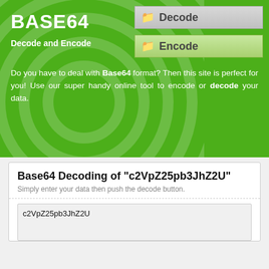BASE64
Decode and Encode
Do you have to deal with Base64 format? Then this site is perfect for you! Use our super handy online tool to encode or decode your data.
Base64 Decoding of "c2VpZ25pb3JhZ2U"
Simply enter your data then push the decode button.
c2VpZ25pb3JhZ2U